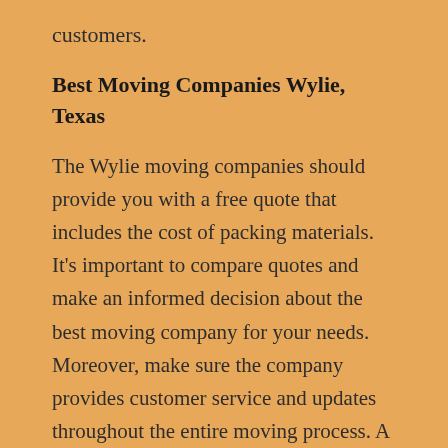customers.
Best Moving Companies Wylie, Texas
The Wylie moving companies should provide you with a free quote that includes the cost of packing materials. It's important to compare quotes and make an informed decision about the best moving company for your needs. Moreover, make sure the company provides customer service and updates throughout the entire moving process. A moving company that provides personalized communication with its customers is essential, and a moving company that doesn't offer this should not be overlooked. You'll be glad you chose a moving firm!